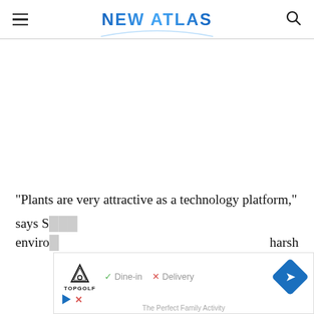NEW ATLAS
"Plants are very attractive as a technology platform," says S... enviro... harsh
[Figure (screenshot): Advertisement overlay showing TopGolf ad with Dine-in and Delivery options and a navigation arrow icon, partially covering article text]